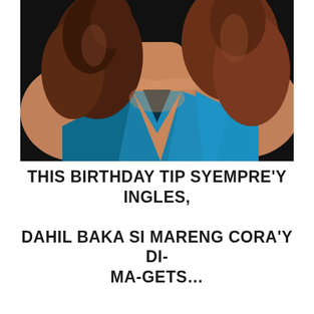[Figure (photo): Close-up photo of a woman with curly auburn hair wearing a teal/blue satin V-neck dress, photographed from the neck/shoulder down, against a dark background.]
THIS BIRTHDAY TIP SYEMPRE'Y INGLES,

DAHIL BAKA SI MARENG CORA'Y DI-MA-GETS…